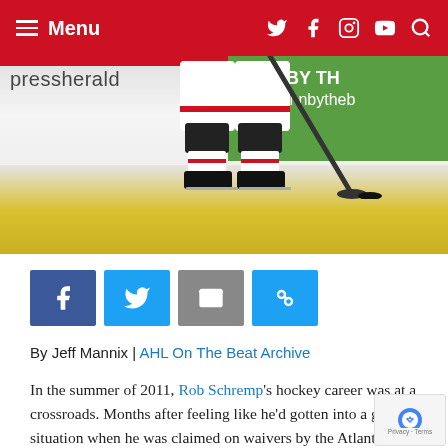Menu
[Figure (photo): Hockey player in black and white uniform on ice rink, pressherald.com boards visible, green advertisement board reading 'BY TH innbytheb']
[Figure (infographic): Social share buttons: Facebook (blue), Twitter (light blue), Email (gray), Link (light blue)]
By Jeff Mannix | AHL On The Beat Archive
In the summer of 2011, Rob Schremp's hockey career was at a crossroads. Months after feeling like he'd gotten into a good situation when he was claimed on waivers by the Atlanta Thrashers, the club was sold and moved to Winnipeg. After the sale, the entire hockey operations staff with the Thrashers